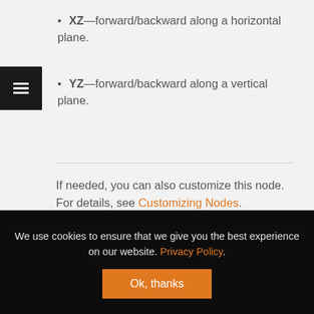XZ—forward/backward along a horizontal plane.
YZ—forward/backward along a vertical plane.
If needed, you can also customize this node. For details, see Customizing Nodes.
We use cookies to ensure that we give you the best experience on our website. Privacy Policy.